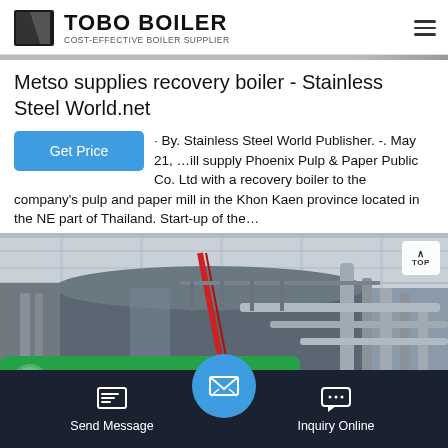TOBO BOILER — COST-EFFECTIVE BOILER SUPPLIER
Metso supplies recovery boiler - Stainless Steel World.net
By. Stainless Steel World Publisher. -. May 21, ... will supply Phoenix Pulp & Paper Public Co. Ltd with a recovery boiler to the company's pulp and paper mill in the Khon Kaen province located in the NE part of Thailand. Start-up of the…
[Figure (photo): Industrial interior photo of a large boiler/pipe installation inside a manufacturing facility with metal piping, cylindrical tanks, and structural supports visible.]
Send Message | Inquiry Online